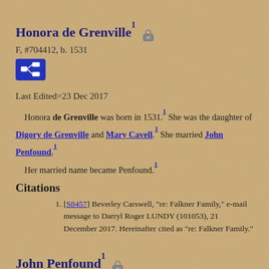Honora de Grenville
F, #704412, b. 1531
Last Edited=23 Dec 2017
Honora de Grenville was born in 1531. She was the daughter of Digory de Grenville and Mary Cavell. She married John Penfound. Her married name became Penfound.
Citations
[S8457] Beverley Carswell, "re: Falkner Family," e-mail message to Darryl Roger LUNDY (101053), 21 December 2017. Hereinafter cited as "re: Falkner Family."
John Penfound
M, #704413, b. 1530